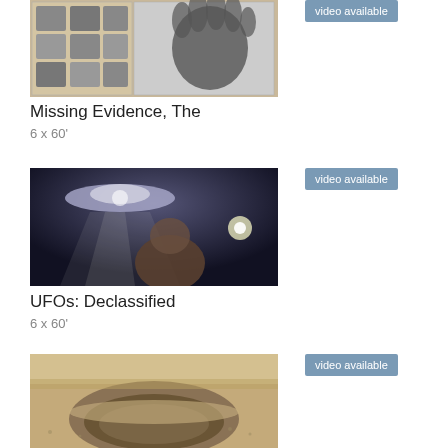[Figure (photo): Fingerprint cards and handprints - forensic evidence documents]
Missing Evidence, The
6 x 60'
[Figure (photo): UFO abduction scene - dramatic lighting with figure and flying saucer]
UFOs: Declassified
6 x 60'
[Figure (photo): Aerial view of a large meteor impact crater in desert landscape]